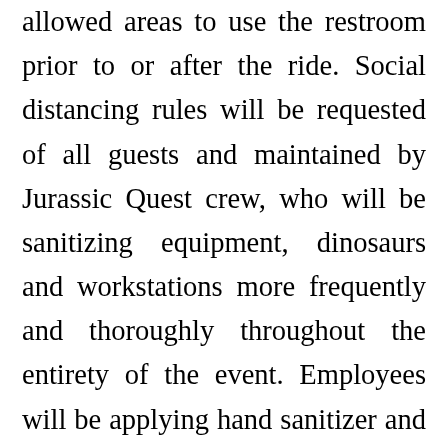allowed areas to use the restroom prior to or after the ride. Social distancing rules will be requested of all guests and maintained by Jurassic Quest crew, who will be sanitizing equipment, dinosaurs and workstations more frequently and thoroughly throughout the entirety of the event. Employees will be applying hand sanitizer and washing their hands regularly throughout each day, in addition to wearing masks. Guest safety and enjoyment is Jurassic Quest's top priority.